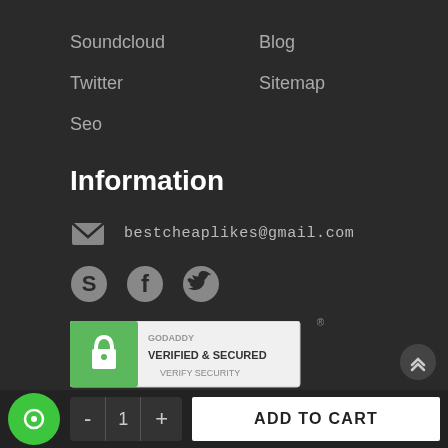Soundcloud
Blog
Twitter
Sitemap
Seo
Information
bestcheaplikes@gmail.com
[Figure (logo): GoDaddy Verified & Secured badge with lock icon and 'VERIFY SECURITY' text]
[Figure (logo): Verified by VISA logo in blue and gold]
[Figure (logo): MasterCard SecureCode logo in red and yellow]
ADD TO CART